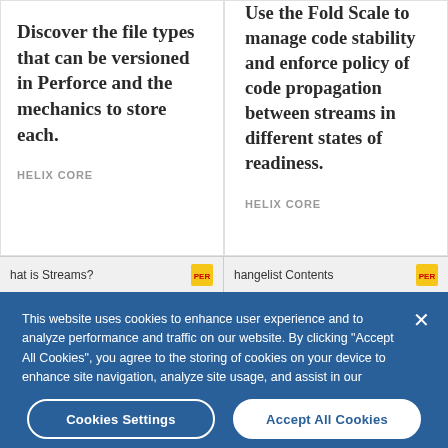Discover the file types that can be versioned in Perforce and the mechanics to store each.
HELIX CORE
Use the Fold Scale to manage code stability and enforce policy of code propagation between streams in different states of readiness.
HELIX CORE
hat is Streams?
hangelist Contents
This website uses cookies to enhance user experience and to analyze performance and traffic on our website. By clicking “Accept All Cookies”, you agree to the storing of cookies on your device to enhance site navigation, analyze site usage, and assist in our marketing efforts.
Cookies Settings
Accept All Cookies